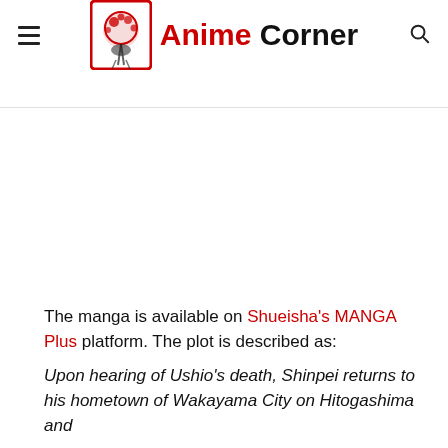Anime Corner
The manga is available on Shueisha's MANGA Plus platform. The plot is described as:
Upon hearing of Ushio's death, Shinpei returns to his hometown of Wakayama City on Hitogashima and